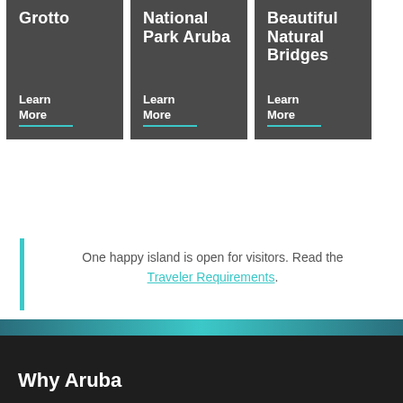Grotto
Learn More
National Park Aruba
Learn More
Beautiful Natural Bridges
Learn More
One happy island is open for visitors. Read the Traveler Requirements.
Why Aruba